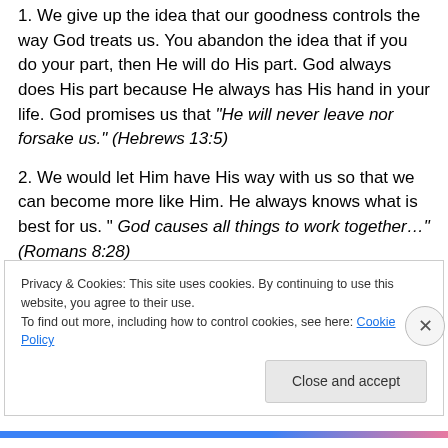1. We give up the idea that our goodness controls the way God treats us. You abandon the idea that if you do your part, then He will do His part. God always does His part because He always has His hand in your life. God promises us that "He will never leave nor forsake us." (Hebrews 13:5)
2. We would let Him have His way with us so that we can become more like Him. He always knows what is best for us. " God causes all things to work together…" (Romans 8:28)
Privacy & Cookies: This site uses cookies. By continuing to use this website, you agree to their use. To find out more, including how to control cookies, see here: Cookie Policy
Close and accept